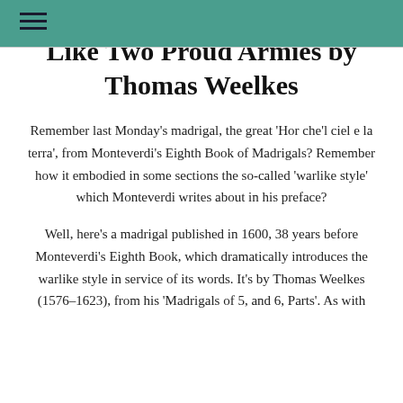≡
Like Two Proud Armies by Thomas Weelkes
Remember last Monday's madrigal, the great 'Hor che'l ciel e la terra', from Monteverdi's Eighth Book of Madrigals? Remember how it embodied in some sections the so-called 'warlike style' which Monteverdi writes about in his preface?
Well, here's a madrigal published in 1600, 38 years before Monteverdi's Eighth Book, which dramatically introduces the warlike style in service of its words. It's by Thomas Weelkes (1576–1623), from his 'Madrigals of 5, and 6, Parts'. As with